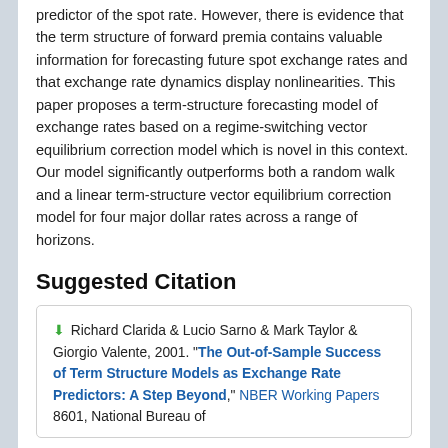predictor of the spot rate. However, there is evidence that the term structure of forward premia contains valuable information for forecasting future spot exchange rates and that exchange rate dynamics display nonlinearities. This paper proposes a term-structure forecasting model of exchange rates based on a regime-switching vector equilibrium correction model which is novel in this context. Our model significantly outperforms both a random walk and a linear term-structure vector equilibrium correction model for four major dollar rates across a range of horizons.
Suggested Citation
Richard Clarida & Lucio Sarno & Mark Taylor & Giorgio Valente, 2001. "The Out-of-Sample Success of Term Structure Models as Exchange Rate Predictors: A Step Beyond," NBER Working Papers 8601, National Bureau of